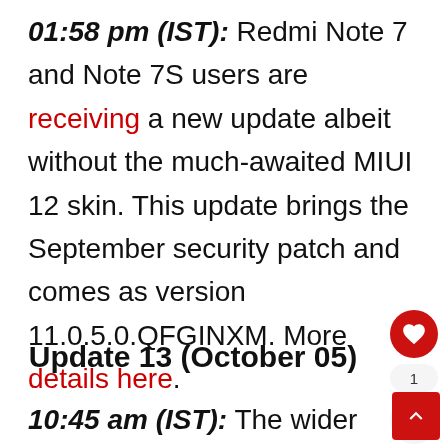01:58 pm (IST): Redmi Note 7 and Note 7S users are receiving a new update albeit without the much-awaited MIUI 12 skin. This update brings the September security patch and comes as version 11.0.5.0.QFGINXM. More details here.
Update 13 (October 05)
10:45 am (IST): The wider rollout for